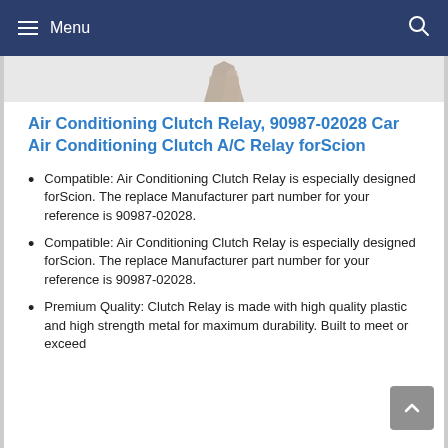Menu
[Figure (photo): Partial view of an Air Conditioning Clutch Relay product image at top of page]
Air Conditioning Clutch Relay, 90987-02028 Car Air Conditioning Clutch A/C Relay forScion
Compatible: Air Conditioning Clutch Relay is especially designed forScion. The replace Manufacturer part number for your reference is 90987-02028.
Compatible: Air Conditioning Clutch Relay is especially designed forScion. The replace Manufacturer part number for your reference is 90987-02028.
Premium Quality: Clutch Relay is made with high quality plastic and high strength metal for maximum durability. Built to meet or exceed